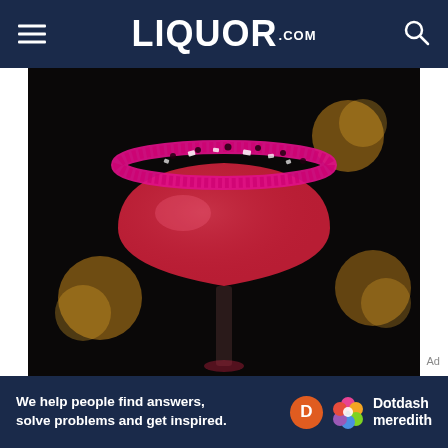LIQUOR.COM
[Figure (photo): A pink/red cocktail in a coupe glass with a hot pink sugar and candy rim, set against a dark background with out-of-focus golden bokeh lights]
Ad
[Figure (logo): Dotdash Meredith logo with orange D circle and colorful flower icon]
We help people find answers, solve problems and get inspired.